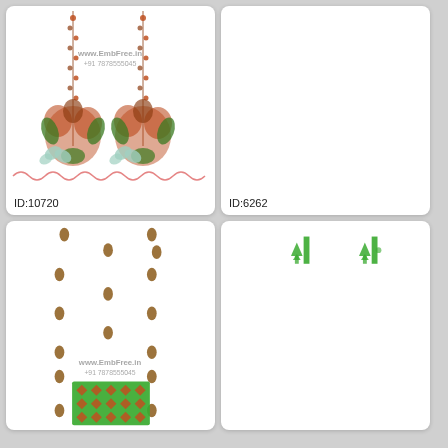[Figure (illustration): Embroidery design with two vertical floral vine columns, butterfly and flower motifs at the bottom, decorative wavy border, watermark www.EmbFree.in +91 7878555045]
ID:10720
[Figure (illustration): Mostly blank embroidery design card, nearly empty white space]
ID:6262
[Figure (illustration): Embroidery design with scattered small brown teardrop motifs arranged symmetrically, large decorative green geometric border panel at bottom center, watermark www.EmbFree.in +91 7878555045]
[Figure (illustration): Embroidery design with small green tree/plant symbols at top, mostly blank white card]